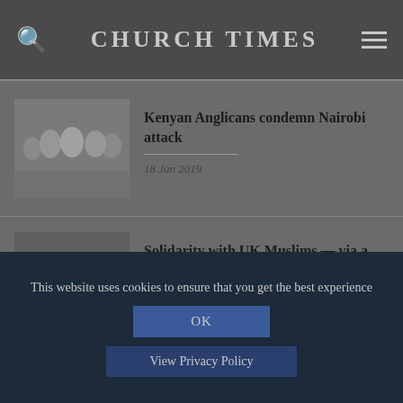CHURCH TIMES
Kenyan Anglicans condemn Nairobi attack
18 Jan 2019
Solidarity with UK Muslims — via a marker pen
22 Mar 2019
This website uses cookies to ensure that you get the best experience
OK
View Privacy Policy